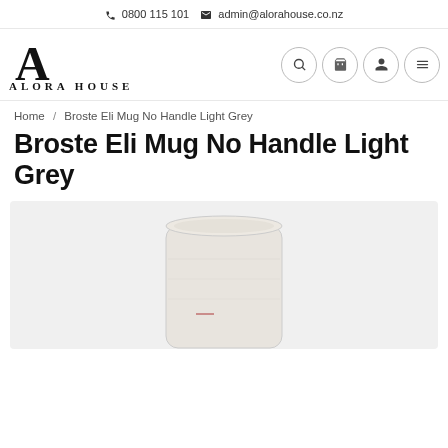📞 0800 115 101  ✉ admin@alorahouse.co.nz
[Figure (logo): Alora House logo: large stylized A letterform with serif treatment above the text 'ALORA HOUSE' in spaced capitals]
[Figure (infographic): Navigation icon buttons: search (magnifying glass), cart (shopping cart), account (person silhouette), menu (hamburger lines) — four circular outlined buttons]
Home / Broste Eli Mug No Handle Light Grey
Broste Eli Mug No Handle Light Grey
[Figure (photo): Product photo of a light grey ceramic mug without handle (Broste Eli Mug), shown against a white/light background, partially cropped at bottom of page]